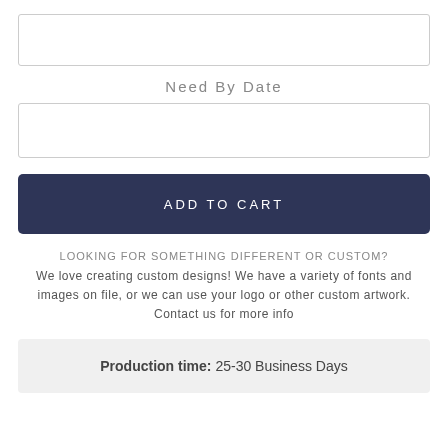[Figure (other): Empty input text box at top of page]
Need By Date
[Figure (other): Empty input text box for Need By Date]
ADD TO CART
LOOKING FOR SOMETHING DIFFERENT OR CUSTOM?
We love creating custom designs! We have a variety of fonts and images on file, or we can use your logo or other custom artwork. Contact us for more info
Production time: 25-30 Business Days